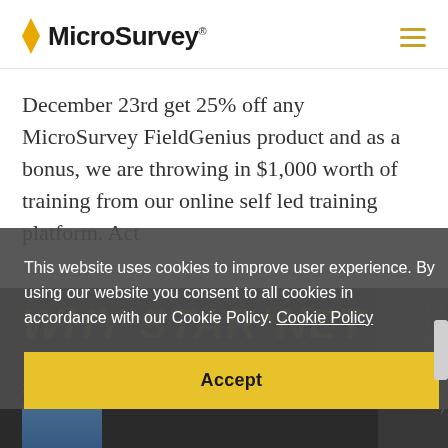MicroSurvey
December 23rd get 25% off any MicroSurvey FieldGenius product and as a bonus, we are throwing in $1,000 worth of training from our online self led training platform. Act
This website uses cookies to improve user experience. By using our website you consent to all cookies in accordance with our Cookie Policy.  Cookie Policy
Accept
[Figure (screenshot): Dark background section showing 'WHY STAR*NET' text and '10 REASONS TO USE STAR*NET' label with partial image of people]
10 REASONS TO USE STAR*NET